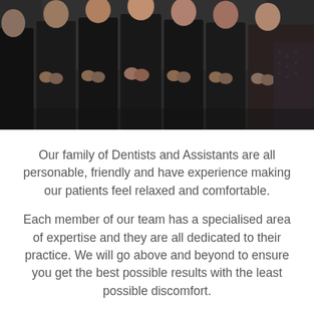[Figure (photo): Group photo of dental team members wearing black uniforms/scrubs, standing in a row with hands clasped in front, photographed from chest down]
Our family of Dentists and Assistants are all personable, friendly and have experience making our patients feel relaxed and comfortable.
Each member of our team has a specialised area of expertise and they are all dedicated to their practice. We will go above and beyond to ensure you get the best possible results with the least possible discomfort.